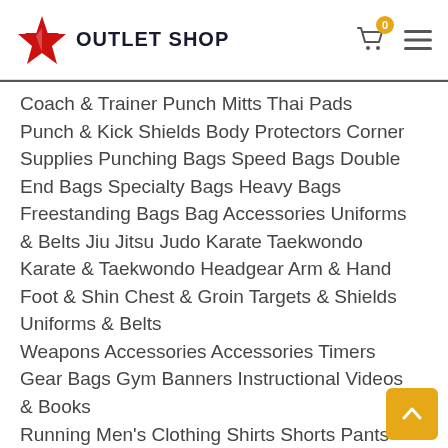OUTLET SHOP
Coach & Trainer Punch Mitts Thai Pads Punch & Kick Shields Body Protectors Corner Supplies Punching Bags Speed Bags Double End Bags Specialty Bags Heavy Bags Freestanding Bags Bag Accessories Uniforms & Belts Jiu Jitsu Judo Karate Taekwondo Karate & Taekwondo Headgear Arm & Hand Foot & Shin Chest & Groin Targets & Shields Uniforms & Belts Weapons Accessories Accessories Timers Gear Bags Gym Banners Instructional Videos & Books Running Men's Clothing Shirts Shorts Pants Jackets Tights Women's Clothing Tops Shorts Pants Men's Shoes Running Track & Field Trail